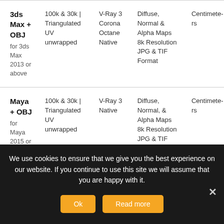| Format | Polygon Count | Renderer | Textures | Units |
| --- | --- | --- | --- | --- |
| 3ds Max + OBJ
for 3ds Max 2013 or above | 100k & 30k | Triangulated UV unwrapped | V-Ray 3 Corona Octane Native | Diffuse, Normal & Alpha Maps 8k Resolution JPG & TIF Format | Centimeters |
| Maya + OBJ
for Maya 2015 or above | 100k & 30k | Triangulated UV unwrapped | V-Ray 3 Native | Diffuse, Normal, & Alpha Maps 8k Resolution JPG & TIF Format | Centimeters |
We use cookies to ensure that we give you the best experience on our website. If you continue to use this site we will assume that you are happy with it.